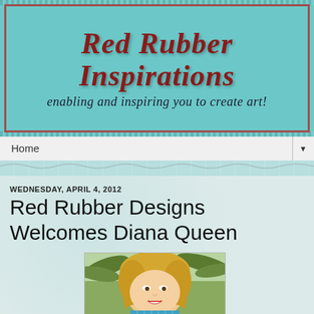[Figure (illustration): Red Rubber Inspirations blog banner with teal/turquoise background, decorative scrollwork patterns, red bordered box containing site title in red italic serif font and subtitle in dark italic serif font]
Home
WEDNESDAY, APRIL 4, 2012
Red Rubber Designs Welcomes Diana Queen
[Figure (photo): Portrait photo of Diana Queen, a blonde woman smiling, with palm trees or foliage visible in the background, wearing a striped top]